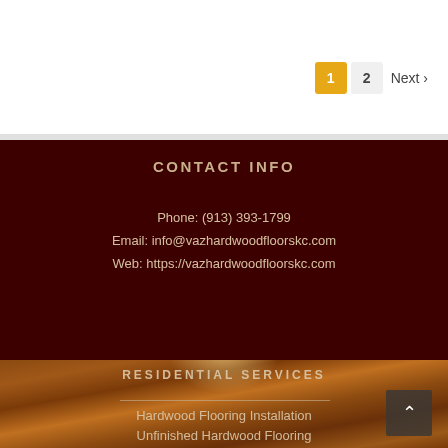1  2  Next >
CONTACT INFO
Phone: (913) 393-1799
Email: info@vazhardwoodfloorskc.com
Web: https://vazhardwoodfloorskc.com
[Figure (photo): Wood hardwood flooring background photo with light glow effect]
RESIDENTIAL SERVICES
Hardwood Flooring Installation
Unfinished Hardwood Flooring
Pre-finished Hardwood Flooring